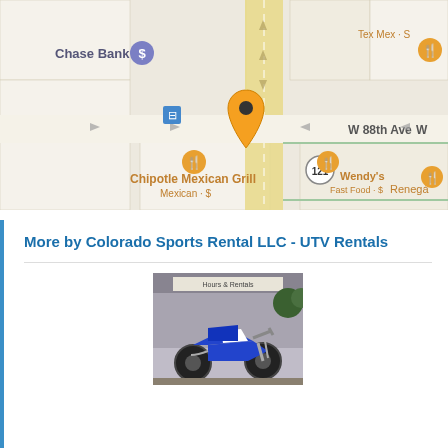[Figure (map): Google Maps screenshot showing location near W 88th Ave, with nearby landmarks including Chase Bank, Chipotle Mexican Grill (Mexican · $), Wendy's Fast Food · $, Tex Mex, and Renegade. An orange map pin marks the business location on a road running north-south. Route 121 is visible.]
More by Colorado Sports Rental LLC - UTV Rentals
[Figure (photo): Photo of a blue and white dirt bike / motorbike parked in front of a building with a sign that reads 'Hours & Rentals'. The motorcycle appears to be a Yamaha-style off-road bike.]